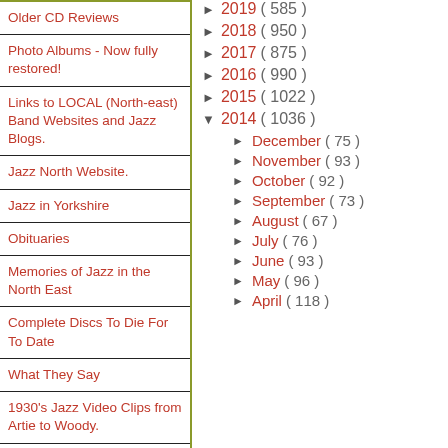Older CD Reviews
Photo Albums - Now fully restored!
Links to LOCAL (North-east) Band Websites and Jazz Blogs.
Jazz North Website.
Jazz in Yorkshire
Obituaries
Memories of Jazz in the North East
Complete Discs To Die For To Date
What They Say
1930's Jazz Video Clips from Artie to Woody.
The John Potts Story
2019 ( 585 )
2018 ( 950 )
2017 ( 875 )
2016 ( 990 )
2015 ( 1022 )
2014 ( 1036 )
December ( 75 )
November ( 93 )
October ( 92 )
September ( 73 )
August ( 67 )
July ( 76 )
June ( 93 )
May ( 96 )
April ( 118 )